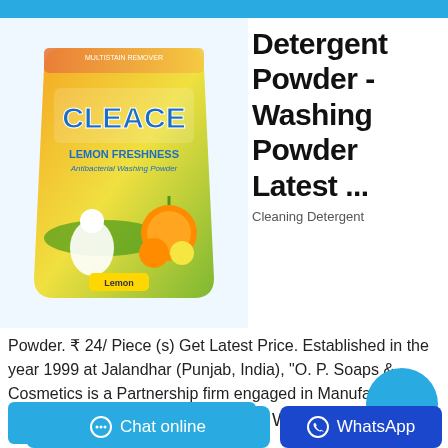[Figure (photo): Package of Cleace Lemon Freshness Antibacterial Washing Powder, yellow-green gradient bag with orange and lemon graphics]
Detergent Powder - Washing Powder Latest ...
Cleaning Detergent Powder. ₹ 24/ Piece (s) Get Latest Price. Established in the year 1999 at Jalandhar (Punjab, India), "O. P. Soaps & Cosmetics is a Partnership firm engaged in Manufacturing and Supplying of high quality ...
Contact the manufacturer
WhatsApp
Chat online
WhatsApp